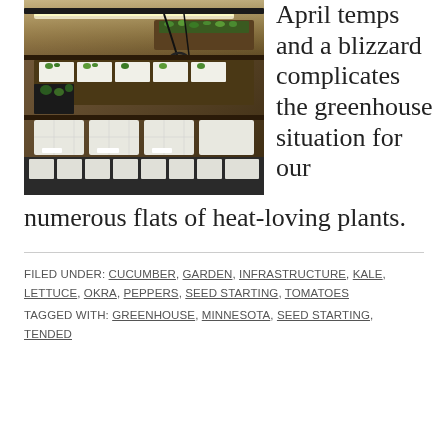[Figure (photo): Indoor greenhouse photo showing seedling trays under grow lights on shelving, with small green plant starts in white foam/plastic cells.]
April temps and a blizzard complicates the greenhouse situation for our numerous flats of heat-loving plants.
FILED UNDER: CUCUMBER, GARDEN, INFRASTRUCTURE, KALE, LETTUCE, OKRA, PEPPERS, SEED STARTING, TOMATOES
TAGGED WITH: GREENHOUSE, MINNESOTA, SEED STARTING, TENDED